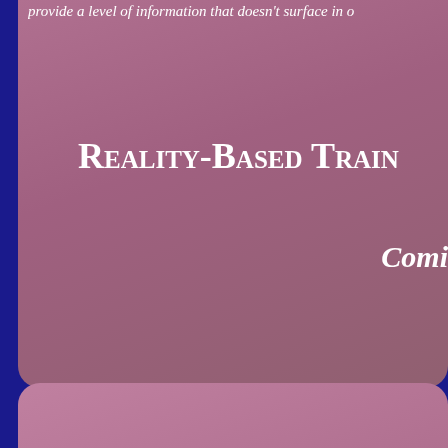provide a level of information that doesn't surface in o
Reality-Based Train
Comi
Back to Overview
Back to The Build Heaven Project